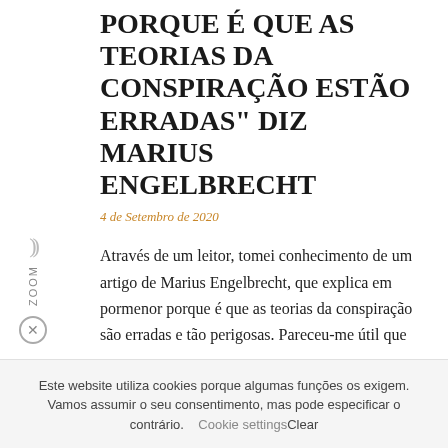PORQUE É QUE AS TEORIAS DA CONSPIRAÇÃO ESTÃO ERRADAS" DIZ MARIUS ENGELBRECHT
4 de Setembro de 2020
Através de um leitor, tomei conhecimento de um artigo de Marius Engelbrecht, que explica em pormenor porque é que as teorias da conspiração são erradas e tão perigosas. Pareceu-me útil que ...
Este website utiliza cookies porque algumas funções os exigem. Vamos assumir o seu consentimento, mas pode especificar o contrário.    Cookie settingsClear